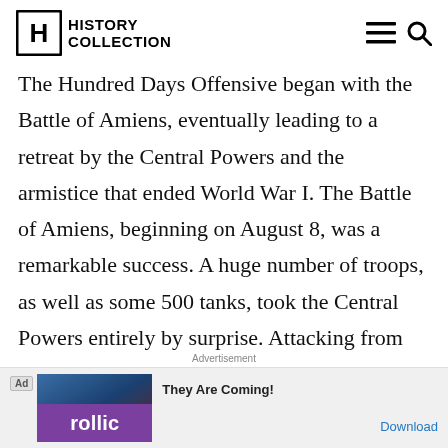History Collection
The Hundred Days Offensive began with the Battle of Amiens, eventually leading to a retreat by the Central Powers and the armistice that ended World War I. The Battle of Amiens, beginning on August 8, was a remarkable success. A huge number of troops, as well as some 500 tanks, took the Central Powers entirely by surprise. Attacking from the rear, the Allies created a 15-mile break in the German lines. By the 10th of August, the
Advertisement
[Figure (other): Advertisement banner for Rollic game 'They Are Coming!' with download button]